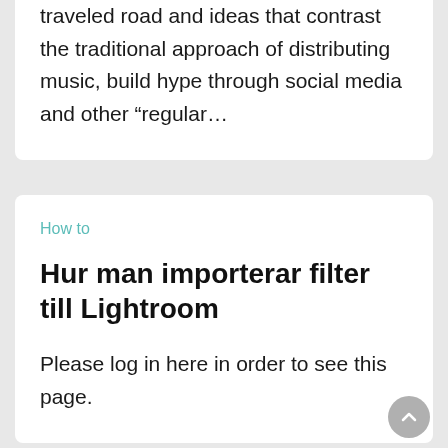traveled road and ideas that contrast the traditional approach of distributing music, build hype through social media and other “regular…
How to
Hur man importerar filter till Lightroom
Please log in here in order to see this page.